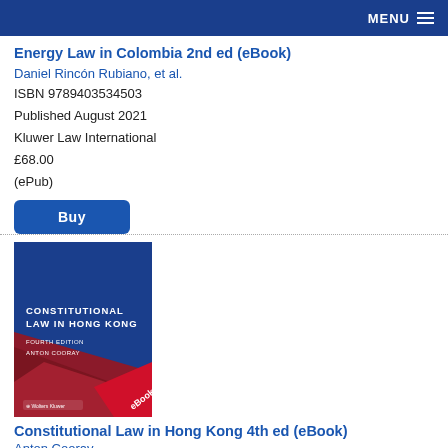MENU
Energy Law in Colombia 2nd ed (eBook)
Daniel Rincón Rubiano, et al.
ISBN 9789403534503
Published August 2021
Kluwer Law International
£68.00
(ePub)
Buy
[Figure (illustration): Book cover of Constitutional Law in Hong Kong, Fourth Edition by Anton Cooray. Blue and dark red cover with eBook badge in bottom right corner, Wolters Kluwer logo at bottom.]
Constitutional Law in Hong Kong 4th ed (eBook)
Anton Cooray